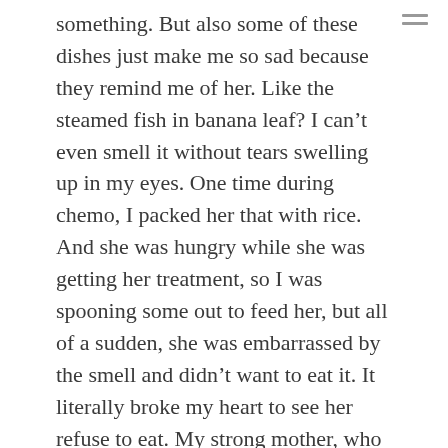something. But also some of these dishes just make me so sad because they remind me of her. Like the steamed fish in banana leaf? I can't even smell it without tears swelling up in my eyes. One time during chemo, I packed her that with rice. And she was hungry while she was getting her treatment, so I was spooning some out to feed her, but all of a sudden, she was embarrassed by the smell and didn't want to eat it. It literally broke my heart to see her refuse to eat. My strong mother, who was never ashamed of anything in regards to her culture was this different person when was sick and going through treatment.

So yeah, I guess you could say it's bittersweet for me. Sorry to go on in a tangent. Definitely check this place out!